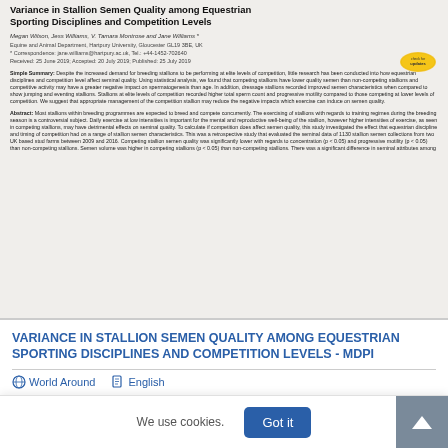[Figure (screenshot): Scanned/rendered preview of a scientific article page showing the title 'Variance in Stallion Semen Quality among Equestrian Sporting Disciplines and Competition Levels', authors Megan Wilson, Jess Williams, V. Tamara Montrose and Jane Williams, affiliation Equine and Animal Department, Hartpury University, Gloucester GL19 3BE, UK, with Simple Summary and Abstract sections visible.]
VARIANCE IN STALLION SEMEN QUALITY AMONG EQUESTRIAN SPORTING DISCIPLINES AND COMPETITION LEVELS - MDPI
World Around | English
We use cookies.  Got it